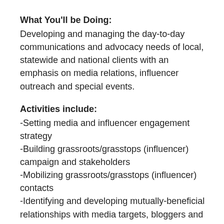What You'll be Doing:
Developing and managing the day-to-day communications and advocacy needs of local, statewide and national clients with an emphasis on media relations, influencer outreach and special events.
Activities include:
-Setting media and influencer engagement strategy
-Building grassroots/grasstops (influencer) campaign and stakeholders
-Mobilizing grassroots/grasstops (influencer) contacts
-Identifying and developing mutually-beneficial relationships with media targets, bloggers and social media influencers and influential members within the region
-Collaborating with team across multiple offices and clients to develop news-worthy angles and stories
-Tailoring media pitches and creating media tools/assets to